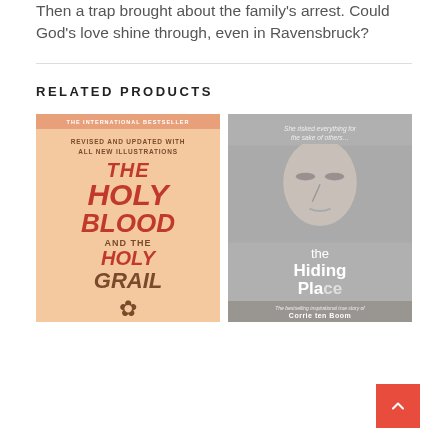Then a trap brought about the family's arrest. Could God's love shine through, even in Ravensbruck?
RELATED PRODUCTS
[Figure (photo): Book cover: The Holy Blood and the Holy Grail - revised and updated with all new illustrations, international bestseller, peach/salmon colored cover]
[Figure (photo): Book cover: The Hiding Place by Corrie ten Boom - grey toned cover with a woman's face, tagline 'She risked everything for the sake of others...' and subtitle 'The bestselling inspirational true story of Corrie ten Boom']